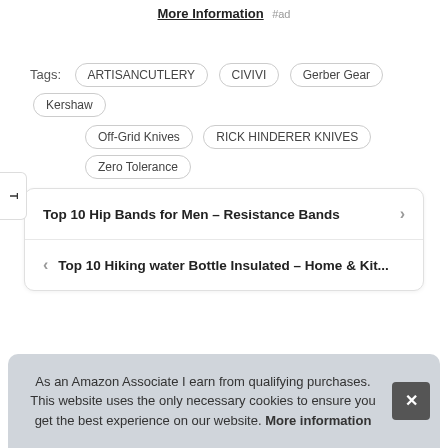More Information #ad
Tags: ARTISANCUTLERY  CIVIVI  Gerber Gear  Kershaw  Off-Grid Knives  RICK HINDERER KNIVES  Zero Tolerance
Top 10 Hip Bands for Men – Resistance Bands →
← Top 10 Hiking water Bottle Insulated – Home & Kit...
As an Amazon Associate I earn from qualifying purchases. This website uses the only necessary cookies to ensure you get the best experience on our website. More information